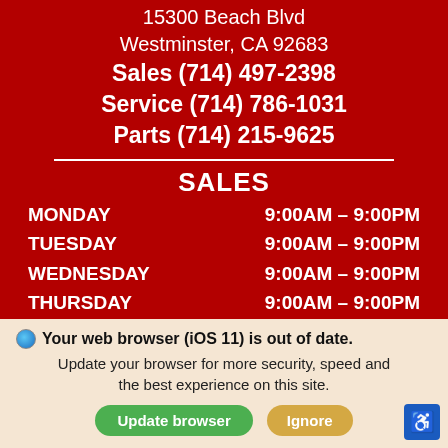15300 Beach Blvd
Westminster, CA 92683
Sales (714) 497-2398
Service (714) 786-1031
Parts (714) 215-9625
SALES
MONDAY   9:00AM – 9:00PM
TUESDAY   9:00AM – 9:00PM
WEDNESDAY   9:00AM – 9:00PM
THURSDAY   9:00AM – 9:00PM
FRIDAY   9:00AM – 9:00PM
SATURDAY   9:00AM – 9:00PM
SUNDAY   9:00AM – 9:00PM
Your web browser (iOS 11) is out of date. Update your browser for more security, speed and the best experience on this site.